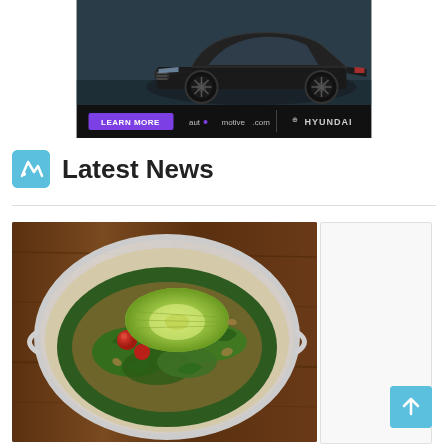[Figure (photo): Hyundai car advertisement banner showing a dark luxury sedan from the front-left angle with 'LEARN MORE' button in purple, automotive.com text, and Hyundai logo on a dark background]
Latest News
[Figure (photo): Photo of a salad in a clear plastic food container on a wooden table, featuring avocado, cherry tomatoes, mixed greens, and grains]